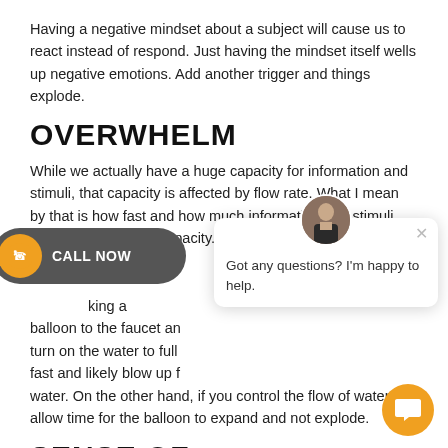Having a negative mindset about a subject will cause us to react instead of respond. Just having the mindset itself wells up negative emotions. Add another trigger and things explode.
OVERWHELM
While we actually have a huge capacity for information and stimuli, that capacity is affected by flow rate. What I mean by that is how fast and how much information and stimuli come at us impacts capacity. Too much too fast forces the mind to make room for more.
king a balloon to the faucet and turn on the water to full fast and likely blow up f water. On the other hand, if you control the flow of water you allow time for the balloon to expand and not explode.
SENSE OF ENTITLEMENT
[Figure (other): Call Now button overlay with orange phone icon and dark rounded pill shape]
[Figure (other): Chat popup with avatar photo and text 'Got any questions? I'm happy to help.' with orange chat bubble button in bottom right corner]